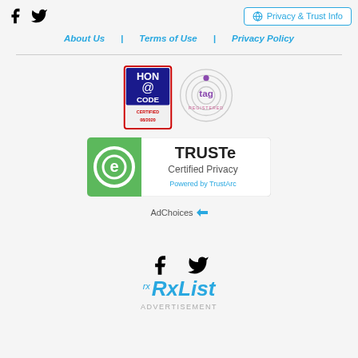Facebook Twitter | Privacy & Trust Info
About Us | Terms of Use | Privacy Policy
[Figure (logo): HON Code Certified 08/2020 badge]
[Figure (logo): TAG Registered badge]
[Figure (logo): TRUSTe Certified Privacy Powered by TrustArc badge]
AdChoices
[Figure (logo): Facebook and Twitter social icons]
[Figure (logo): RxList logo with ADVERTISEMENT text below]